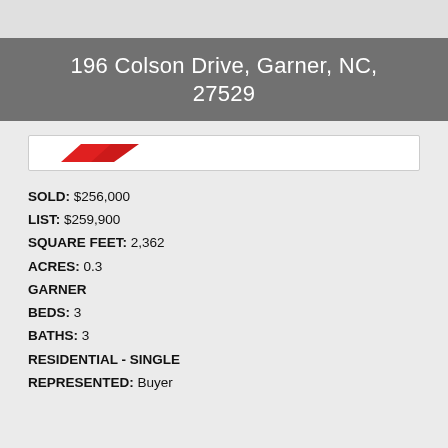196 Colson Drive, Garner, NC, 27529
[Figure (logo): Real estate agency logo with red diagonal swoosh/parallelogram shape on white background]
SOLD: $256,000
LIST: $259,900
SQUARE FEET: 2,362
ACRES: 0.3
GARNER
BEDS: 3
BATHS: 3
RESIDENTIAL - SINGLE
REPRESENTED: Buyer
1710 Carriage Back Court